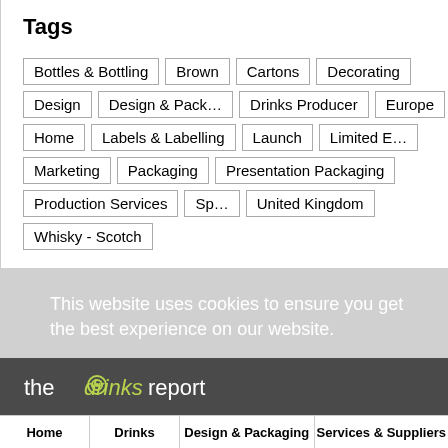Tags
Bottles & Bottling
Brown
Cartons
Decorating
Design
Design & Pack…
Drinks Producer
Europe
Home
Labels & Labelling
Launch
Limited E…
Marketing
Packaging
Presentation Packaging
Production Services
Sp…
United Kingdom
Whisky - Scotch
This website uses cookies to ensure you get the best experience on our website.
Learn more
OK
[Figure (logo): thedrinksreport logo in white and green on dark grey background]
Home | Drinks | Design & Packaging | Services & Suppliers